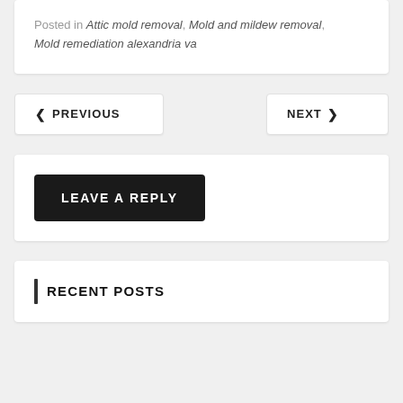Posted in Attic mold removal, Mold and mildew removal, Mold remediation alexandria va
< PREVIOUS
NEXT >
LEAVE A REPLY
RECENT POSTS